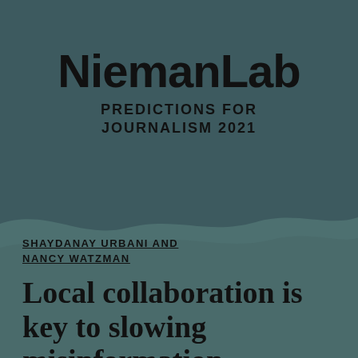NiemanLab PREDICTIONS FOR JOURNALISM 2021
SHAYDANAY URBANI AND NANCY WATZMAN
Local collaboration is key to slowing misinformation